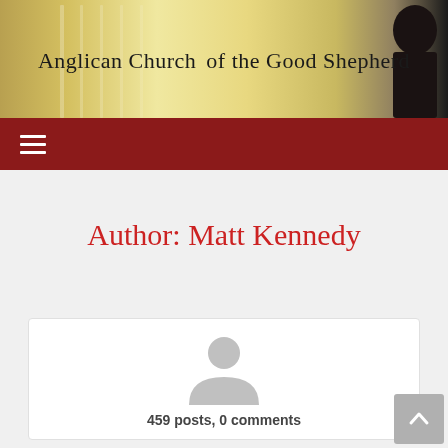[Figure (illustration): Anglican Church of the Good Shepherd website banner header with golden/warm background and silhouette on right side]
Anglican Church of the Good Shepherd
[Figure (illustration): Navigation bar with hamburger menu icon on dark red background]
Author: Matt Kennedy
[Figure (illustration): Profile card with generic user avatar icon in grey]
459 posts, 0 comments